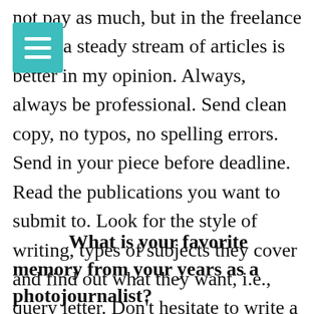not pay as much, but in the freelance world a steady stream of articles is better in my opinion. Always, always be professional. Send clean copy, no typos, no spelling errors. Send in your piece before deadline. Read the publications you want to submit to. Look for the style of writing, types of subjects they cover and find out what they want, i.e., query letter. Don't hesitate to write a couple of articles for free in the beginning just to get some publishing credits. Provide high quality digital (I'm making the assumption everyone is doing digital today, but a few may not) photos. Photos sell the articles in most magazines.
What is your favorite memory from your years as a photojournalist?